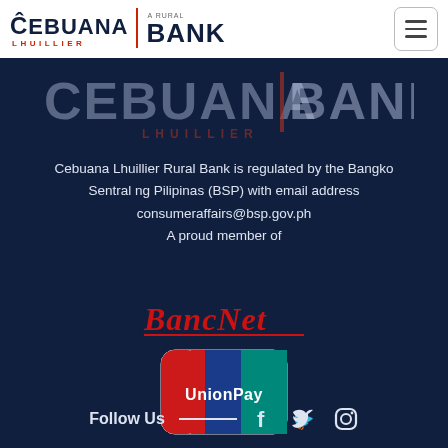[Figure (logo): Cebuana Lhuillier Rural Bank navigation logo in white navbar with hamburger menu]
[Figure (logo): Large Cebuana Lhuillier Bank logo watermark on dark navy background]
Cebuana Lhuillier Rural Bank is regulated by the Bangko Sentral ng Pilipinas (BSP) with email address consumeraffairs@bsp.gov.ph
A proud member of
[Figure (logo): BancNet logo in red italic text with underline]
[Figure (logo): UnionPay logo with red, blue, and green card design]
Follow Us
[Figure (logo): Social media icons: Facebook, Twitter, Instagram]